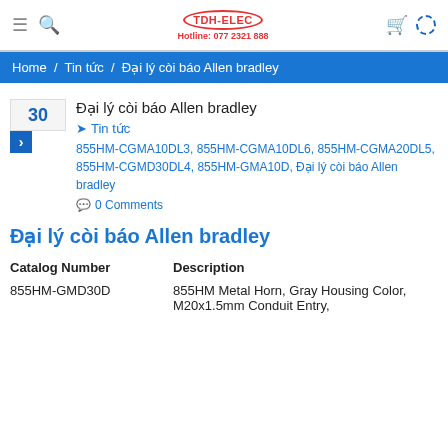TDH-ELEC Hotline: 077 2321 888
Home / Tin tức / Đại lý còi báo Allen bradley
30 Đại lý còi báo Allen bradley
Tin tức
855HM-CGMA10DL3, 855HM-CGMA10DL6, 855HM-CGMA20DL5, 855HM-CGMD30DL4, 855HM-GMA10D, Đại lý còi báo Allen bradley
0 Comments
Đại lý còi báo Allen bradley
| Catalog Number | Description |
| --- | --- |
| 855HM-GMD30D | 855HM Metal Horn, Gray Housing Color, M20x1.5mm Conduit Entry, |